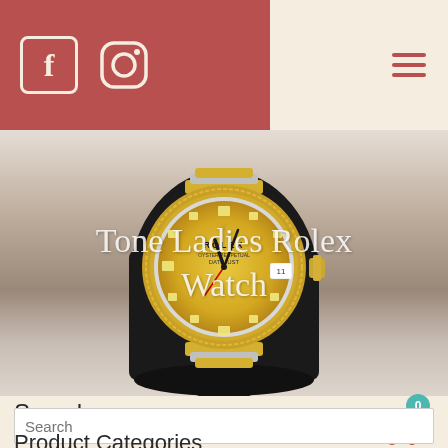[Figure (screenshot): Website header with Facebook and Instagram icons on a dark red/mauve background on the left, and a hamburger menu icon (three horizontal lines) in dark red on the right against cream/beige background.]
[Figure (photo): A two-tone ladies Rolex Datejust watch with gold and stainless steel jubilee bracelet, champagne diamond dial, displayed on a black watch cushion. White cursive text overlay reads 'Tone Ladies Rolex Watch'.]
Search...
[Figure (illustration): Shopping cart icon in dark red/brown color with a teal circle badge showing the number 0.]
Search
Product Categories